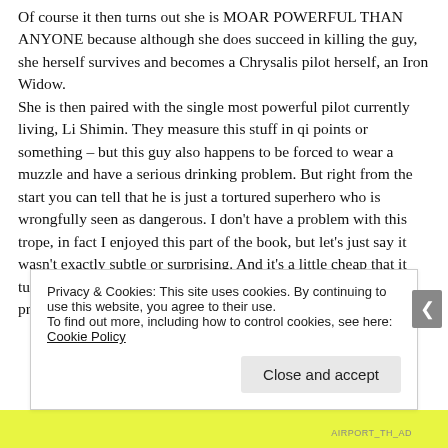Of course it then turns out she is MOAR POWERFUL THAN ANYONE because although she does succeed in killing the guy, she herself survives and becomes a Chrysalis pilot herself, an Iron Widow.
She is then paired with the single most powerful pilot currently living, Li Shimin. They measure this stuff in qi points or something – but this guy also happens to be forced to wear a muzzle and have a serious drinking problem. But right from the start you can tell that he is just a tortured superhero who is wrongfully seen as dangerous. I don't have a problem with this trope, in fact I enjoyed this part of the book, but let's just say it wasn't exactly subtle or surprising. And it's a little cheap that it turns out everything bad about this characters (or indeed, our protagonist) is
Privacy & Cookies: This site uses cookies. By continuing to use this website, you agree to their use.
To find out more, including how to control cookies, see here: Cookie Policy
Close and accept